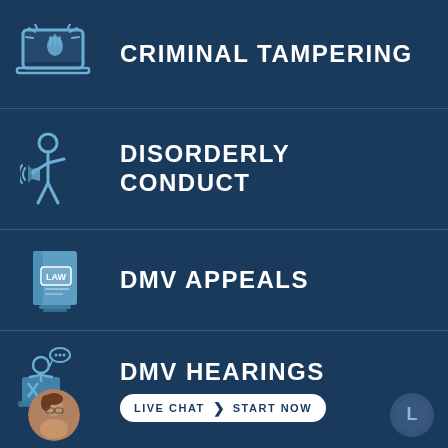[Figure (infographic): Dark blue infographic listing four legal services: Criminal Tampering, Disorderly Conduct, DMV Appeals, DMV Hearings, each with an icon. Bottom row has live chat button with attorney photo and firm logo.]
CRIMINAL TAMPERING
DISORDERLY CONDUCT
DMV APPEALS
DMV HEARINGS
LIVE CHAT  START NOW